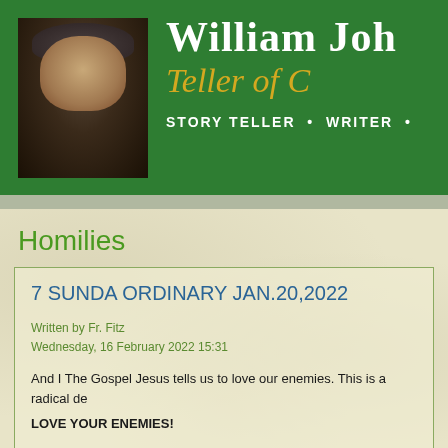[Figure (photo): Website header with green background, photo of elderly man with beard and flat cap on the left, and text 'WILLIAM JOH...' with italic gold 'Teller of...' subtitle and 'STORY TELLER • WRITER •' in white on right]
Homilies
7 SUNDA ORDINARY JAN.20,2022
Written by Fr. Fitz
Wednesday, 16 February 2022 15:31
And I The Gospel Jesus tells us to love our enemies. This is a radical de
LOVE YOUR ENEMIES!